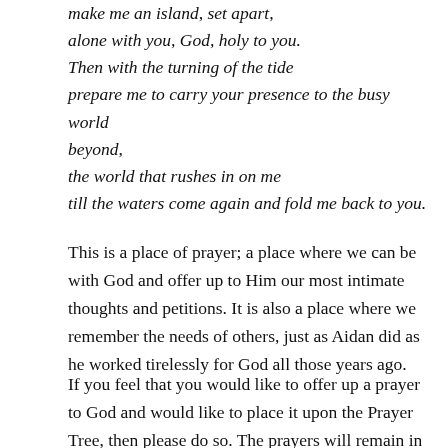make me an island, set apart,
alone with you, God, holy to you.
Then with the turning of the tide
prepare me to carry your presence to the busy world beyond,
the world that rushes in on me
till the waters come again and fold me back to you.
This is a place of prayer; a place where we can be with God and offer up to Him our most intimate thoughts and petitions. It is also a place where we remember the needs of others, just as Aidan did as he worked tirelessly for God all those years ago.
If you feel that you would like to offer up a prayer to God and would like to place it upon the Prayer Tree, then please do so. The prayers will remain in place for two